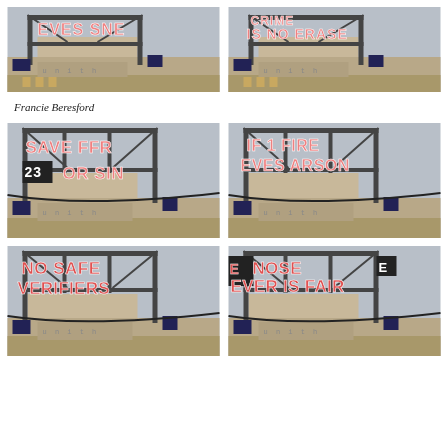[Figure (photo): Industrial building with large billboard sign reading 'EVES SNE' (partial), pink block letters on metal scaffolding frame, tan/beige concrete silo, blue-grey sky]
[Figure (photo): Same industrial building with large billboard sign reading 'IS NO ERASE' (partial, with top line partially cut), pink block letters on metal scaffolding frame]
Francie Beresford
[Figure (photo): Industrial building with large billboard sign reading 'SAVE FFR / 23 OR SIN' (partial), pink and black block letters on metal scaffolding frame]
[Figure (photo): Industrial building with large billboard sign reading 'IF 1 FIRE / EVES ARSON', pink block letters on metal scaffolding frame]
[Figure (photo): Industrial building with large billboard sign reading 'NO SAFE / VERIFIERS' (partial), pink/red block letters on metal scaffolding frame]
[Figure (photo): Industrial building with large billboard sign reading 'NOSE E / EVER IS FAIR' (partial), pink/red block letters on metal scaffolding frame]